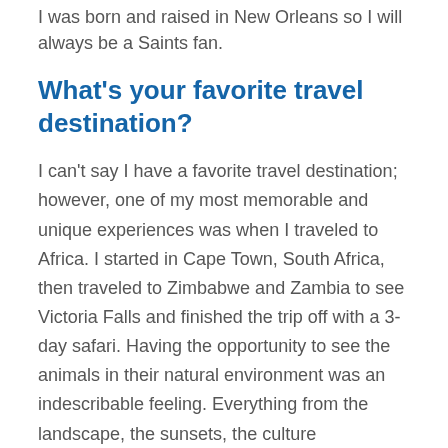I was born and raised in New Orleans so I will always be a Saints fan.
What's your favorite travel destination?
I can't say I have a favorite travel destination; however, one of my most memorable and unique experiences was when I traveled to Africa. I started in Cape Town, South Africa, then traveled to Zimbabwe and Zambia to see Victoria Falls and finished the trip off with a 3-day safari. Having the opportunity to see the animals in their natural environment was an indescribable feeling. Everything from the landscape, the sunsets, the culture